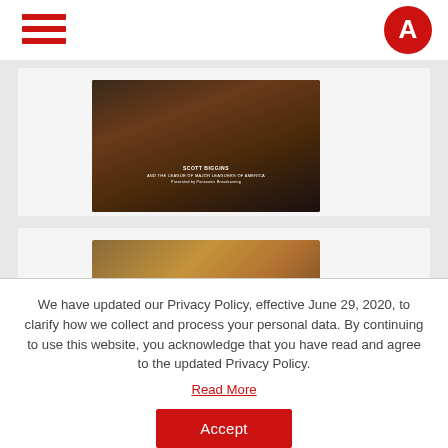[Figure (screenshot): Website header with red hamburger menu icon on left and red circle logo with white letter A on right]
[Figure (photo): Dark video thumbnail showing a crowded scene with text overlay reading documentary title]
[Figure (photo): Partially visible video thumbnail showing a person, partially obscured by modal]
We have updated our Privacy Policy, effective June 29, 2020, to clarify how we collect and process your personal data. By continuing to use this website, you acknowledge that you have read and agree to the updated Privacy Policy.
Read More
Accept